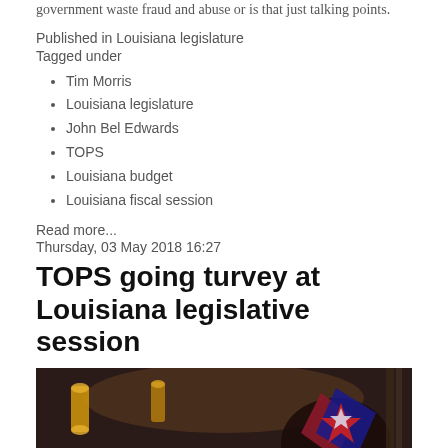government waste fraud and abuse or is that just talking points.
Published in Louisiana legislature
Tagged under
Tim Morris
Louisiana legislature
John Bel Edwards
TOPS
Louisiana budget
Louisiana fiscal session
Read more...
Thursday, 03 May 2018 16:27
TOPS going turvey at Louisiana legislative session
[Figure (photo): Photo related to TOPS going turvey at Louisiana legislative session, showing what appears to be a legislative chamber interior with decorative lanterns and a figure in the foreground]